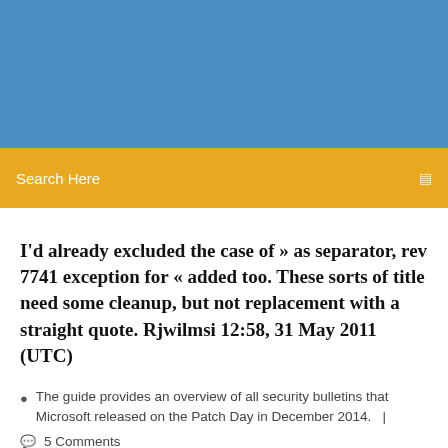[Figure (other): Blue header banner area at the top of a webpage screenshot]
Search Here
I'd already excluded the case of » as separator, rev 7741 exception for « added too. These sorts of title need some cleanup, but not replacement with a straight quote. Rjwilmsi 12:58, 31 May 2011 (UTC)
The guide provides an overview of all security bulletins that Microsoft released on the Patch Day in December 2014.  |
5 Comments